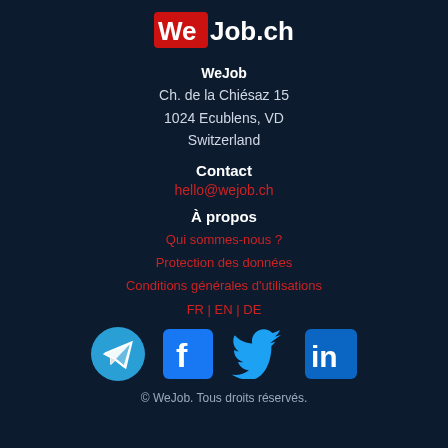[Figure (logo): WeJob.ch logo with red square background on 'We' and white text '.ch']
WeJob
Ch. de la Chiésaz 15
1024 Ecublens, VD
Switzerland
Contact
hello@wejob.ch
À propos
Qui sommes-nous ?
Protection des données
Conditions générales d'utilisations
FR | EN | DE
[Figure (infographic): Row of four social media icons: Telegram (blue circle with paper plane), Facebook (blue square with f), Twitter (blue bird), LinkedIn (blue rounded square with in)]
© WeJob. Tous droits réservés.